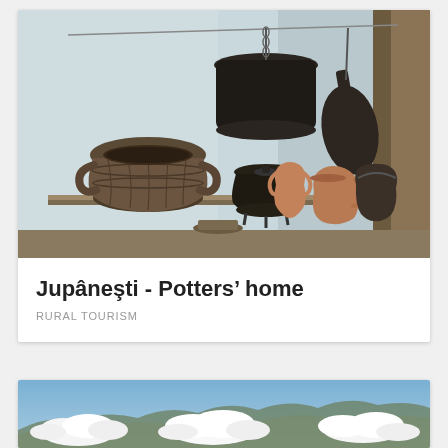[Figure (photo): Interior of a potter's home showing traditional clay pottery vessels and dark iron cookware hanging and displayed on shelves against a white-washed wall]
Jupânești - Potters' home
RURAL TOURISM
[Figure (photo): Partial view of mountain peaks with white clouds against a blue sky]